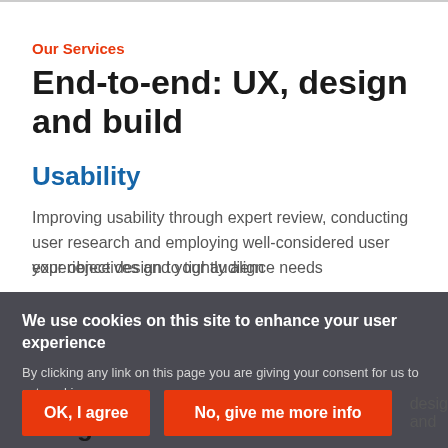Our Services
End-to-end: UX, design and build
Usability
Improving usability through expert review, conducting user research and employing well-considered user experience design to tightly align your objectives and your audience needs
Design
We use cookies on this site to enhance your user experience
By clicking any link on this page you are giving your consent for us to set cookies.
OK, I agree
No, give me more info
design and